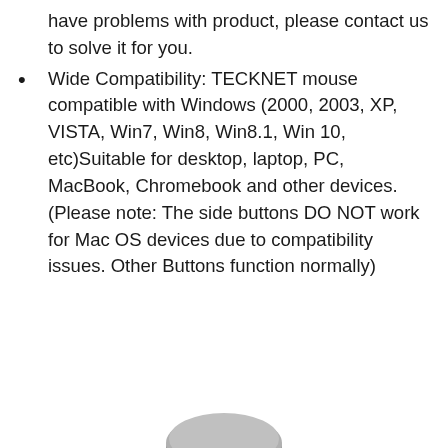have problems with product, please contact us to solve it for you.
Wide Compatibility: TECKNET mouse compatible with Windows (2000, 2003, XP, VISTA, Win7, Win8, Win8.1, Win 10, etc)Suitable for desktop, laptop, PC, MacBook, Chromebook and other devices. (Please note: The side buttons DO NOT work for Mac OS devices due to compatibility issues. Other Buttons function normally)
[Figure (photo): Partial view of a computer mouse at the bottom of the page]